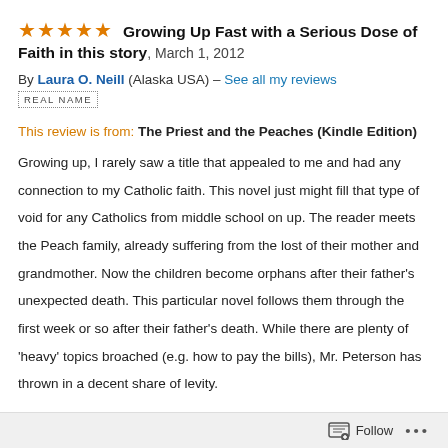★★★★★ Growing Up Fast with a Serious Dose of Faith in this story, March 1, 2012
By Laura O. Neill (Alaska USA) – See all my reviews
REAL NAME
This review is from: The Priest and the Peaches (Kindle Edition)
Growing up, I rarely saw a title that appealed to me and had any connection to my Catholic faith. This novel just might fill that type of void for any Catholics from middle school on up. The reader meets the Peach family, already suffering from the lost of their mother and grandmother. Now the children become orphans after their father's unexpected death. This particular novel follows them through the first week or so after their father's death. While there are plenty of 'heavy' topics broached (e.g. how to pay the bills), Mr. Peterson has thrown in a decent share of levity.
Follow •••